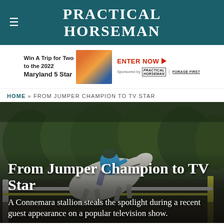PRACTICAL HORSEMAN
[Figure (photo): Advertisement banner: Win A Trip for Two to the 2022 Maryland 5 Star. Sponsored by Practical Horseman and Forage First. Enter Now button with arrow.]
HOME » FROM JUMPER CHAMPION TO TV STAR
[Figure (photo): Hero image of a rider in a blue shirt on a white/grey Connemara horse jumping over a fence at an equestrian show, with trees in background.]
From Jumper Champion to TV Star
A Connemara stallion steals the spotlight during a recent guest appearance on a popular television show.